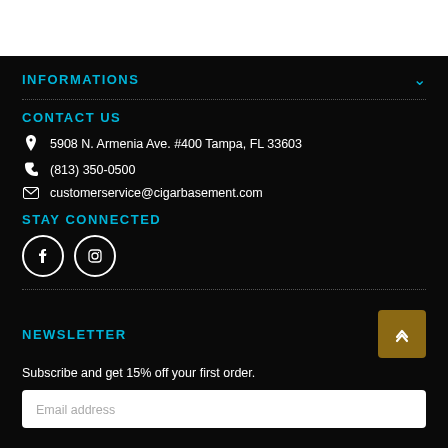INFORMATIONS
CONTACT US
5908 N. Armenia Ave. #400 Tampa, FL 33603
(813) 350-0500
customerservice@cigarbasement.com
STAY CONNECTED
[Figure (illustration): Facebook and Instagram social media icon circles]
NEWSLETTER
Subscribe and get 15% off your first order.
Email address